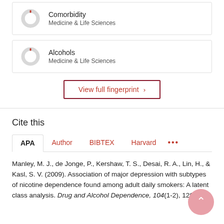[Figure (donut-chart): Small donut/ring chart with a red indicator at top, representing Comorbidity fingerprint metric]
Comorbidity
Medicine & Life Sciences
[Figure (donut-chart): Small donut/ring chart with a red indicator at top, representing Alcohols fingerprint metric]
Alcohols
Medicine & Life Sciences
View full fingerprint >
Cite this
APA   Author   BIBTEX   Harvard   ...
Manley, M. J., de Jonge, P., Kershaw, T. S., Desai, R. A., Lin, H., & Kasl, S. V. (2009). Association of major depression with subtypes of nicotine dependence found among adult daily smokers: A latent class analysis. Drug and Alcohol Dependence, 104(1-2), 126-132.